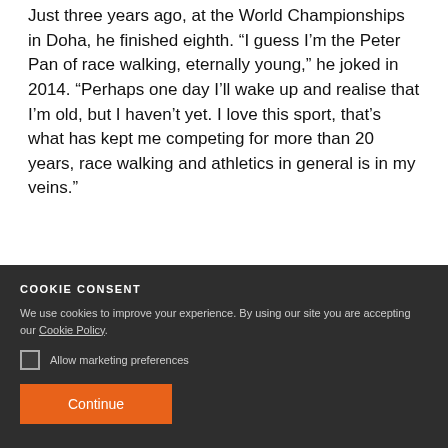Just three years ago, at the World Championships in Doha, he finished eighth. “I guess I’m the Peter Pan of race walking, eternally young,” he joked in 2014. “Perhaps one day I’ll wake up and realise that I’m old, but I haven’t yet. I love this sport, that’s what has kept me competing for more than 20 years, race walking and athletics in general is in my veins.”
COOKIE CONSENT
We use cookies to improve your experience. By using our site you are accepting our Cookie Policy.
Allow marketing preferences
Continue